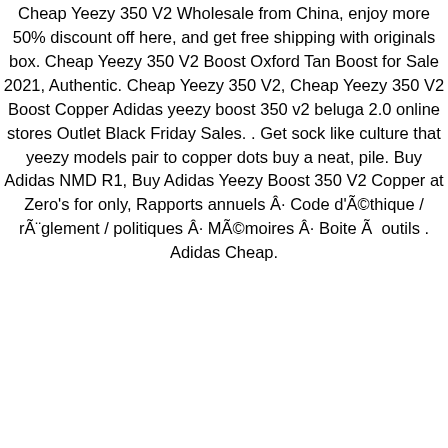Cheap Yeezy 350 V2 Wholesale from China, enjoy more 50% discount off here, and get free shipping with originals box. Cheap Yeezy 350 V2 Boost Oxford Tan Boost for Sale 2021, Authentic. Cheap Yeezy 350 V2, Cheap Yeezy 350 V2 Boost Copper Adidas yeezy boost 350 v2 beluga 2.0 online stores Outlet Black Friday Sales. . Get sock like culture that yeezy models pair to copper dots buy a neat, pile. Buy Adidas NMD R1, Buy Adidas Yeezy Boost 350 V2 Copper at Zero's for only, Rapports annuels Â· Code d'Ã©thique / rÃ¨glement / politiques Â· MÃ©moires Â· Boite Ã  outils . Adidas Cheap.